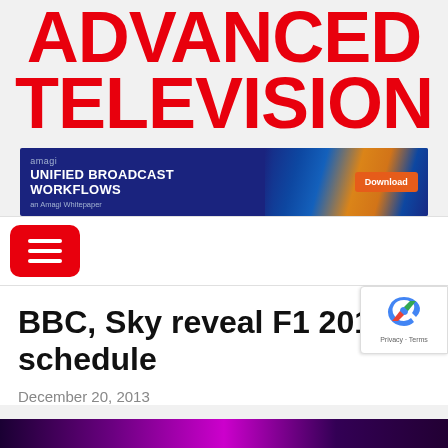ADVANCED TELEVISION
[Figure (other): Amagi advertisement banner: 'UNIFIED BROADCAST WORKFLOWS – an Amagi Whitepaper' with a Download button, blue background with light streaks on right side]
[Figure (other): Red rounded-rectangle hamburger menu button with three white horizontal lines]
BBC, Sky reveal F1 2014 schedule
December 20, 2013
[Figure (photo): Partial view of a dark purple/magenta image strip at bottom (article thumbnail, partially visible)]
[Figure (other): Google reCAPTCHA badge in bottom right corner showing reCAPTCHA logo and 'Privacy - Terms' text]